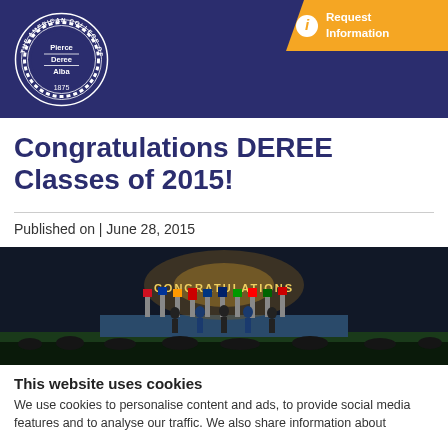[Figure (logo): The American College of Greece circular seal with text 'THE AMERICAN COLLEGE OF GREECE' around the border, center text 'Pierce Deree Alba', and '1875' at bottom, on dark blue/navy background header]
[Figure (photo): Graduation ceremony at night on a sports field with 'CONGRATULATIONS' illuminated sign, international flags, students and faculty on stage, audience in foreground]
Congratulations DEREE Classes of 2015!
Published on | June 28, 2015
This website uses cookies
We use cookies to personalise content and ads, to provide social media features and to analyse our traffic. We also share information about